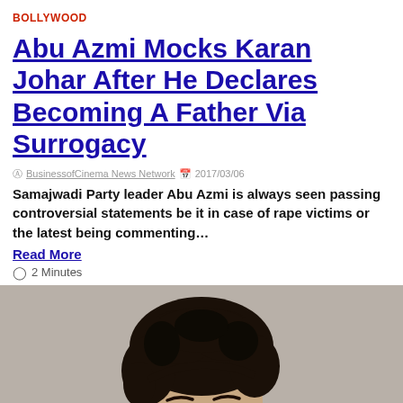BOLLYWOOD
Abu Azmi Mocks Karan Johar After He Declares Becoming A Father Via Surrogacy
BusinessofCinema News Network  2017/03/06
Samajwadi Party leader Abu Azmi is always seen passing controversial statements be it in case of rape victims or the latest being commenting...
Read More
2 Minutes
[Figure (photo): Portrait photo of a young man with dark curly hair against a grey background, shown from shoulders up, looking at the camera]